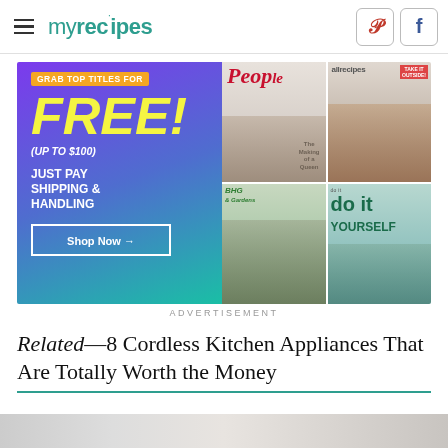myrecipes
[Figure (other): Advertisement banner: Grab top titles for FREE! (up to $100). Just pay shipping & handling. Shop Now. Shows covers of People, allrecipes, Better Homes & Gardens, and Do It Yourself magazines.]
ADVERTISEMENT
Related—8 Cordless Kitchen Appliances That Are Totally Worth the Money
[Figure (photo): Bottom strip of a photo, appears to be a marble or light stone surface]